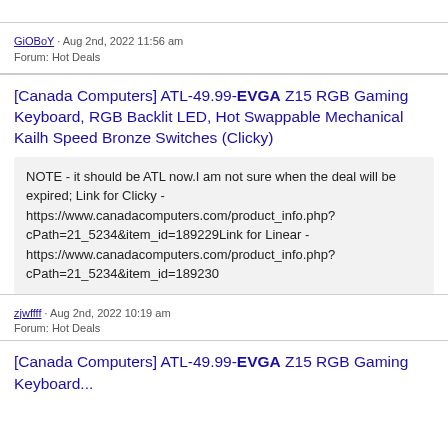GiOBoY · Aug 2nd, 2022 11:56 am
Forum: Hot Deals
[Canada Computers] ATL-49.99-EVGA Z15 RGB Gaming Keyboard, RGB Backlit LED, Hot Swappable Mechanical Kailh Speed Bronze Switches (Clicky)
NOTE - it should be ATL now.I am not sure when the deal will be expired; Link for Clicky - https://www.canadacomputers.com/product_info.php?cPath=21_5234&item_id=189229Link for Linear - https://www.canadacomputers.com/product_info.php?cPath=21_5234&item_id=189230
zjwffff · Aug 2nd, 2022 10:19 am
Forum: Hot Deals
[Canada Computers] ATL-49.99-EVGA Z15 RGB Gaming Keyboard...